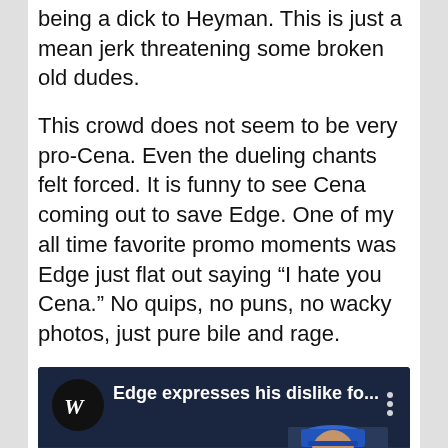being a dick to Heyman. This is just a mean jerk threatening some broken old dudes.
This crowd does not seem to be very pro-Cena. Even the dueling chants felt forced. It is funny to see Cena coming out to save Edge. One of my all time favorite promo moments was Edge just flat out saying “I hate you Cena.” No quips, no puns, no wacky photos, just pure bile and rage.
[Figure (screenshot): YouTube video embed thumbnail showing WWE logo circle on left with text 'Edge expresses his dislike fo...' and a crowd/arena scene with a person in a blue cap visible on the right, red YouTube play button at bottom center.]